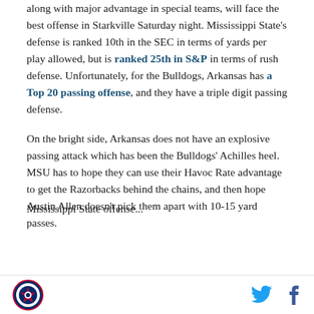along with major advantage in special teams, will face the best offense in Starkville Saturday night. Mississippi State's defense is ranked 10th in the SEC in terms of yards per play allowed, but is ranked 25th in S&P in terms of rush defense. Unfortunately, for the Bulldogs, Arkansas has a Top 20 passing offense, and they have a triple digit passing defense.
On the bright side, Arkansas does not have an explosive passing attack which has been the Bulldogs' Achilles heel. MSU has to hope they can use their Havoc Rate advantage to get the Razorbacks behind the chains, and then hope Austin Allen doesn't pick them apart with 10-15 yard passes.
Mississippi State offense... (partially visible)
[Logo] [Twitter icon] [Facebook icon]